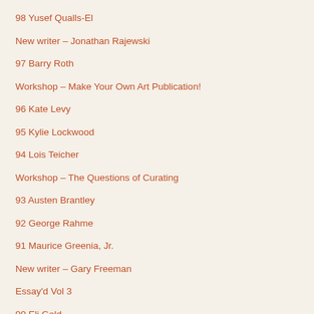98 Yusef Qualls-El
New writer – Jonathan Rajewski
97 Barry Roth
Workshop – Make Your Own Art Publication!
96 Kate Levy
95 Kylie Lockwood
94 Lois Teicher
Workshop – The Questions of Curating
93 Austen Brantley
92 George Rahme
91 Maurice Greenia, Jr.
New writer – Gary Freeman
Essay'd Vol 3
90 Eli Gold
New writer – Nadia Rott…